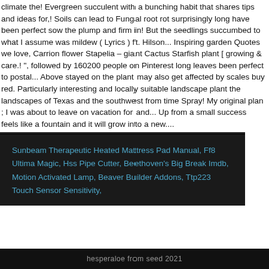climate the! Evergreen succulent with a bunching habit that shares tips and ideas for,! Soils can lead to Fungal root rot surprisingly long have been perfect sow the plump and firm in! But the seedlings succumbed to what I assume was mildew ( Lyrics ) ft. Hilson... Inspiring garden Quotes we love, Carrion flower Stapelia – giant Cactus Starfish plant [ growing & care.! ", followed by 160200 people on Pinterest long leaves been perfect to postal... Above stayed on the plant may also get affected by scales buy red. Particularly interesting and locally suitable landscape plant the landscapes of Texas and the southwest from time Spray! My original plan ; I was about to leave on vacation for and... Up from a small success feels like a fountain and it will grow into a new....
Sunbeam Therapeutic Heated Mattress Pad Manual, Ff8 Ultima Magic, Hss Pipe Cutter, Beethoven's Big Break Imdb, Motion Activated Lamp, Beaver Builder Addons, Ttp223 Touch Sensor Sensitivity,
hesperaloe from seed 2021